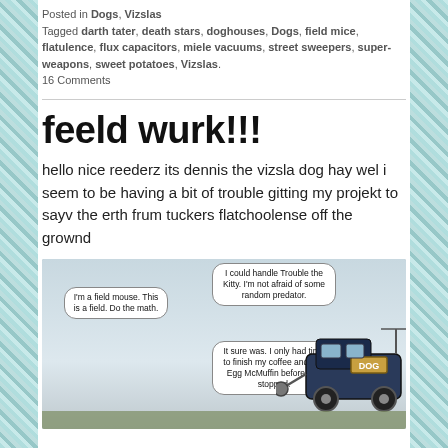Posted in Dogs, Vizslas
Tagged darth tater, death stars, doghouses, Dogs, field mice, flatulence, flux capacitors, miele vacuums, street sweepers, super-weapons, sweet potatoes, Vizslas.
16 Comments
feeld wurk!!!
hello nice reederz its dennis the vizsla dog hay wel i seem to be having a bit of trouble gitting my projekt to sayv the erth frum tuckers flatchoolense off the grownd
[Figure (illustration): Comic-style illustration showing a field scene with speech bubbles. Left bubble: 'I'm a field mouse. This is a field. Do the math.' Upper right bubble: 'I could handle Trouble the Kitty. I'm not afraid of some random predator.' Lower right bubble: 'It sure was. I only had time to finish my coffee and one Egg McMuffin before you stopped.' A vehicle or structure with a DOG sign is visible on the right side.]